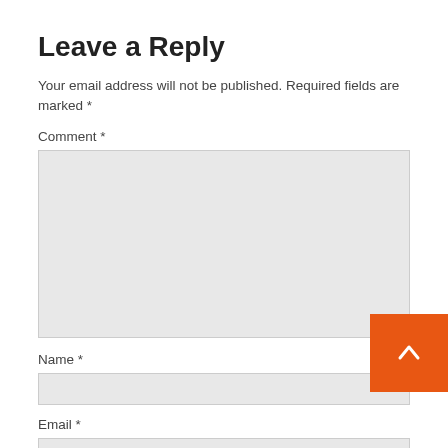Leave a Reply
Your email address will not be published. Required fields are marked *
Comment *
Name *
Email *
Website